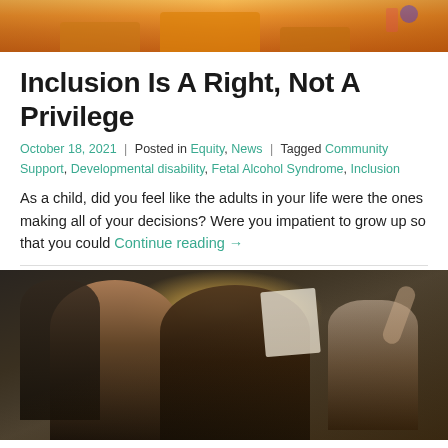[Figure (photo): Top portion of an image showing orange cushions/blocks in a bright room, partially cropped at top of page]
Inclusion Is A Right, Not A Privilege
October 18, 2021 | Posted in Equity, News | Tagged Community Support, Developmental disability, Fetal Alcohol Syndrome, Inclusion
As a child, did you feel like the adults in your life were the ones making all of your decisions? Were you impatient to grow up so that you could Continue reading →
[Figure (photo): Group of diverse people at what appears to be a protest or rally, smiling and holding signs. Two women in the foreground, a Black man and a white person with glasses visible behind them. Bright backlit outdoor scene.]